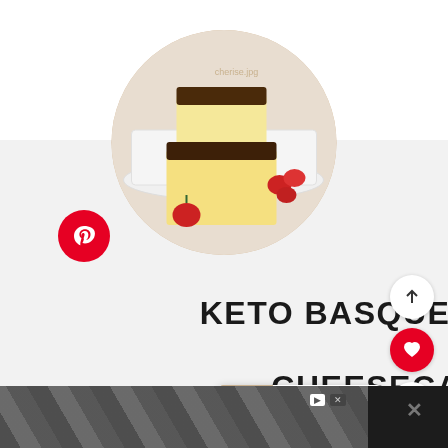[Figure (photo): Circular cropped photo of slices of Basque burnt cheesecake with dark top crust served on white cake stand with strawberries]
KETO BASQUE BURNT CHEESECAKE
yield: 8" Cake (16 servings)
[Figure (other): What's Next thumbnail panel showing Best Japanese Cheesecake]
[Figure (other): Bottom advertisement banner with geometric pattern]